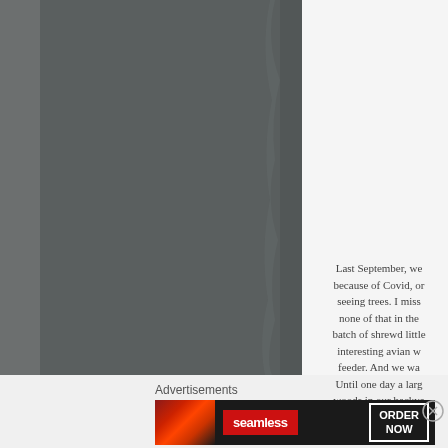[Figure (photo): Large dark grey/charcoal colored photograph occupying the left two-thirds of the upper portion of the page, with a torn or rough right edge effect]
Last September, we because of Covid, or seeing trees. I miss none of that in the batch of shrewd little interesting avian w feeder. And we wa Until one day a larg woods in our backya finished, he perch echoed through the
Advertisements
[Figure (screenshot): Seamless food delivery advertisement banner with pizza image on dark background, Seamless logo in red, and ORDER NOW button with white border]